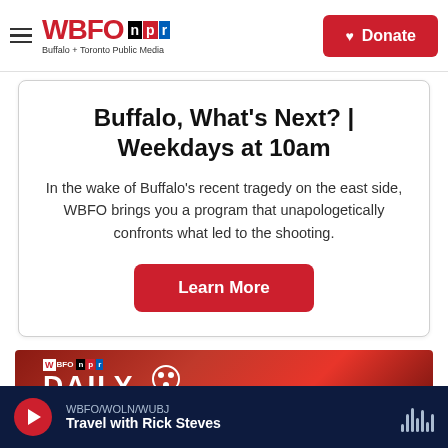WBFO npr — Buffalo + Toronto Public Media | Donate
Buffalo, What's Next? | Weekdays at 10am
In the wake of Buffalo's recent tragedy on the east side, WBFO brings you a program that unapologetically confronts what led to the shooting.
Learn More
[Figure (photo): WBFO Daily logo on a red background]
WBFO/WOLN/WUBJ — Travel with Rick Steves